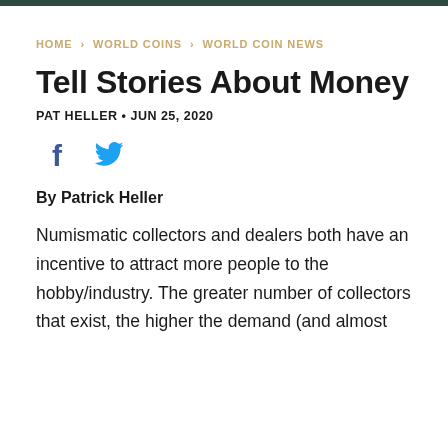HOME › WORLD COINS › WORLD COIN NEWS
Tell Stories About Money
PAT HELLER • JUN 25, 2020
[Figure (other): Social media share icons: Facebook (f) and Twitter (bird)]
By Patrick Heller
Numismatic collectors and dealers both have an incentive to attract more people to the hobby/industry. The greater number of collectors that exist, the higher the demand (and almost